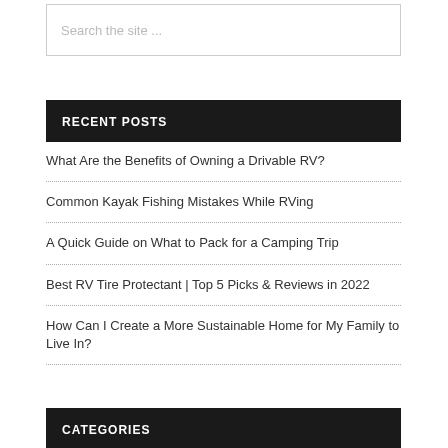Search the site ...
RECENT POSTS
What Are the Benefits of Owning a Drivable RV?
Common Kayak Fishing Mistakes While RVing
A Quick Guide on What to Pack for a Camping Trip
Best RV Tire Protectant | Top 5 Picks & Reviews in 2022
How Can I Create a More Sustainable Home for My Family to Live In?
CATEGORIES